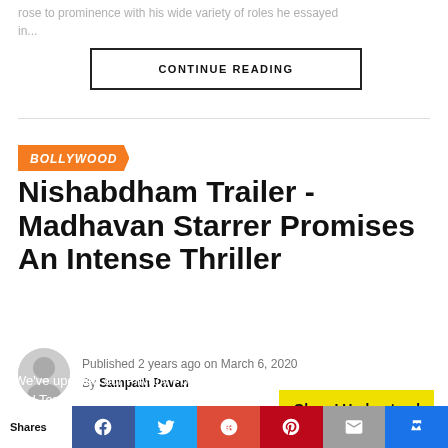rose to prominence with his wide variety of roles he essayed in...
CONTINUE READING
BOLLYWOOD
Nishabdham Trailer - Madhavan Starrer Promises An Intense Thriller
Published 2 years ago on March 6, 2020
By Sampath Pavan
We've updated our Privacy Policy and Terms of Service to make sure the usage of users data in a more clearer way. Click "Okay, I
Okay, I Understand
Shares